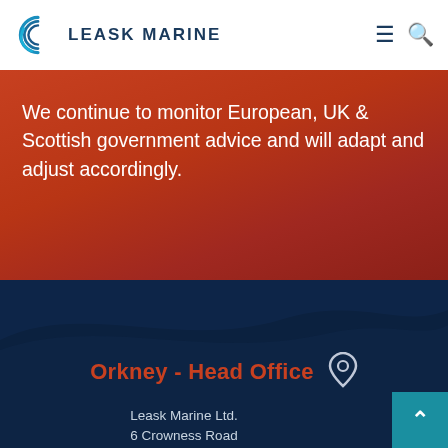LEASK MARINE
We continue to monitor European, UK & Scottish government advice and will adapt and adjust accordingly.
Orkney - Head Office
Leask Marine Ltd.
6 Crowness Road